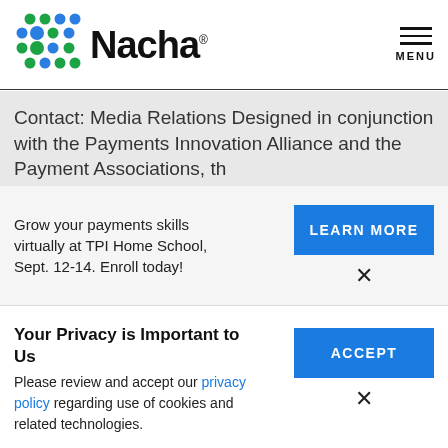[Figure (logo): Nacha logo with colorful dot grid pattern and bold Nacha wordmark]
MENU
Contact: Media Relations Designed in conjunction with the Payments Innovation Alliance and the Payment Association, the
Grow your payments skills virtually at TPI Home School, Sept. 12-14. Enroll today!
LEARN MORE
×
Your Privacy is Important to Us
Please review and accept our privacy policy regarding use of cookies and related technologies.
ACCEPT
×